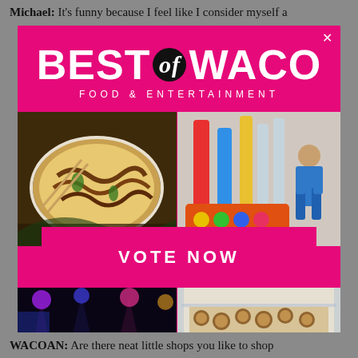Michael: It’s funny because I feel like I consider myself a
[Figure (advertisement): Best of Waco Food & Entertainment advertisement with pink background, large white bold text 'BEST of WACO', subtitle 'FOOD & ENTERTAINMENT', four photos (Asian food, children's museum, concert, bakery), and a hot pink 'VOTE NOW' button in the center]
WACOAN: Are there neat little shops you like to shop